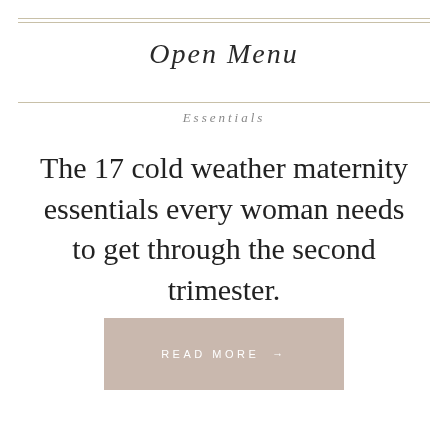Open Menu
Essentials
The 17 cold weather maternity essentials every woman needs to get through the second trimester.
READ MORE →